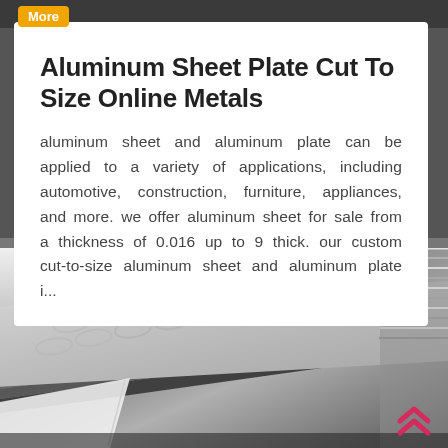More
Aluminum Sheet Plate Cut To Size Online Metals
aluminum sheet and aluminum plate can be applied to a variety of applications, including automotive, construction, furniture, appliances, and more. we offer aluminum sheet for sale from a thickness of 0.016 up to 9 thick. our custom cut-to-size aluminum sheet and aluminum plate i...
[Figure (photo): Stacked aluminum checker/diamond plate sheets photographed at an angle, showing textured metallic surface with embossed oval patterns and layered edges.]